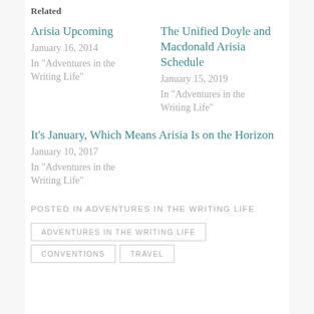Related
Arisia Upcoming
January 16, 2014
In "Adventures in the Writing Life"
The Unified Doyle and Macdonald Arisia Schedule
January 15, 2019
In "Adventures in the Writing Life"
It’s January, Which Means Arisia Is on the Horizon
January 10, 2017
In "Adventures in the Writing Life"
POSTED IN ADVENTURES IN THE WRITING LIFE
ADVENTURES IN THE WRITING LIFE
CONVENTIONS
TRAVEL